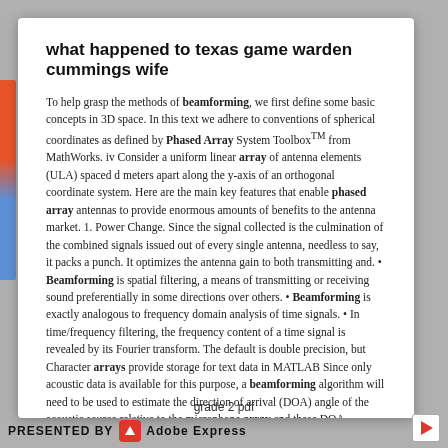what happened to texas game warden cummings wife
To help grasp the methods of beamforming, we first define some basic concepts in 3D space. In this text we adhere to conventions of spherical coordinates as defined by Phased Array System Toolbox™ from MathWorks. iv Consider a uniform linear array of antenna elements (ULA) spaced d meters apart along the y-axis of an orthogonal coordinate system. Here are the main key features that enable phased array antennas to provide enormous amounts of benefits to the antenna market. 1. Power Change. Since the signal collected is the culmination of the combined signals issued out of every single antenna, needless to say, it packs a punch. It optimizes the antenna gain to both transmitting and. • Beamforming is spatial filtering, a means of transmitting or receiving sound preferentially in some directions over others. • Beamforming is exactly analogous to frequency domain analysis of time signals. • In time/frequency filtering, the frequency content of a time signal is revealed by its Fourier transform. The default is double precision, but Character arrays provide storage for text data in MATLAB Since only acoustic data is available for this purpose, a beamforming algorithm will need to be used to estimate the direction of arrival (DOA) angle of the acoustic source relative to the microphone array and these DOA estimates will then need to be used to create the.
subject verb agreement exercises with answers doc
grade 2 pdf
PRESENTED BY  Adobe Express